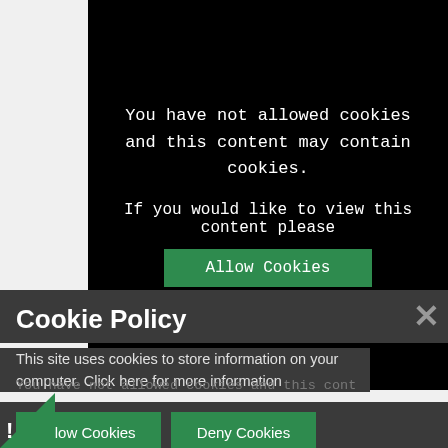[Figure (screenshot): Black blocked content area with cookie warning message and Allow Cookies button]
Here's Amelia's super video showing us how to do ballet! Amelia, your passion for ballet will...
Cookie Policy
This site uses cookies to store information on your computer. Click here for more information
Allow Cookies   Deny Cookies